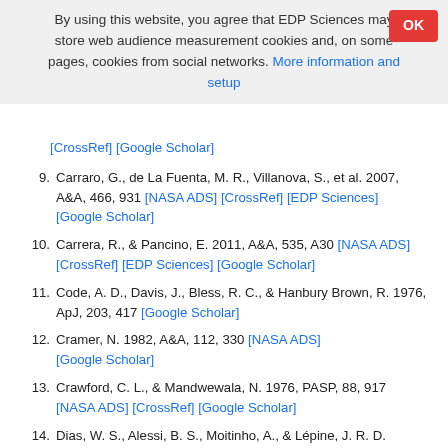By using this website, you agree that EDP Sciences may store web audience measurement cookies and, on some pages, cookies from social networks. More information and setup
[CrossRef] [Google Scholar]
9. Carraro, G., de La Fuenta, M. R., Villanova, S., et al. 2007, A&A, 466, 931 [NASA ADS] [CrossRef] [EDP Sciences] [Google Scholar]
10. Carrera, R., & Pancino, E. 2011, A&A, 535, A30 [NASA ADS] [CrossRef] [EDP Sciences] [Google Scholar]
11. Code, A. D., Davis, J., Bless, R. C., & Hanbury Brown, R. 1976, ApJ, 203, 417 [Google Scholar]
12. Cramer, N. 1982, A&A, 112, 330 [NASA ADS] [Google Scholar]
13. Crawford, C. L., & Mandwewala, N. 1976, PASP, 88, 917 [NASA ADS] [CrossRef] [Google Scholar]
14. Dias, W. S., Alessi, B. S., Moitinho, A., & Lépine, J. R. D.